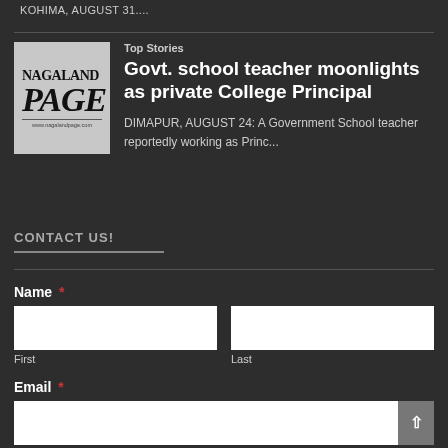KOHIMA, AUGUST 31....
[Figure (logo): Nagaland Page newspaper logo]
Top Stories
Govt. school teacher moonlights as private College Principal
DIMAPUR, AUGUST 24: A Government School teacher reportedly working as Princ...
CONTACT US!
Name *
First
Last
Email *